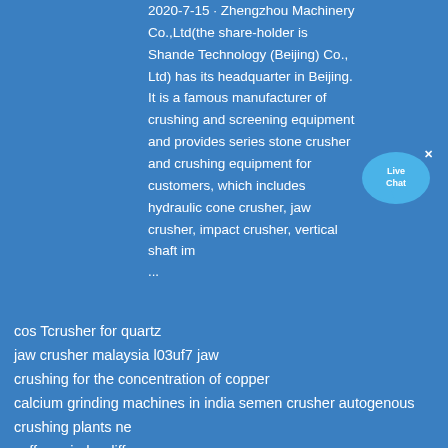2020-7-15 · Zhengzhou Machinery Co.,Ltd(the share-holder is Shande Technology (Beijing) Co., Ltd) has its headquarter in Beijing. It is a famous manufacturer of crushing and screening equipment and provides series stone crusher and crushing equipment for customers, which includes hydraulic cone crusher, jaw crusher, impact crusher, vertical shaft im ...
Send a message to us
cos Tcrusher for quartz
jaw crusher malaysia l03uf7 jaw
crushing for the concentration of copper
calcium grinding machines in india semen crusher autogenous
crushing plants ne
coffee grinder difference